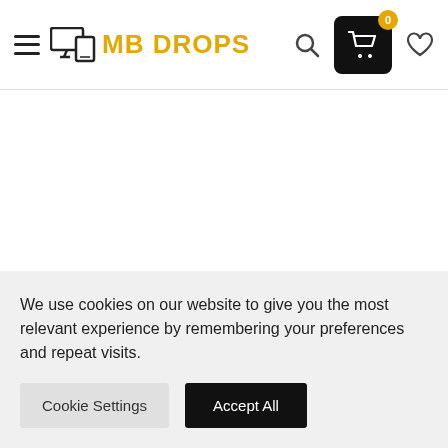MB DROPS - navigation header with hamburger menu, logo, search, cart (0), and wishlist icons
With a smoother streamlined look, more case sizing
We use cookies on our website to give you the most relevant experience by remembering your preferences and repeat visits.
Cookie Settings | Accept All